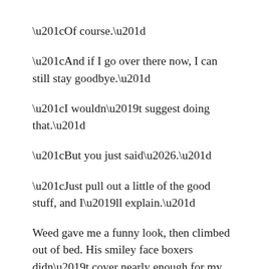“Of course.”
“And if I go over there now, I can still stay goodbye.”
“I wouldn’t suggest doing that.”
“But you just said….”
“Just pull out a little of the good stuff, and I’ll explain.”
Weed gave me a funny look, then climbed out of bed. His smiley face boxers didn’t cover nearly enough for my liking, but thankfully he